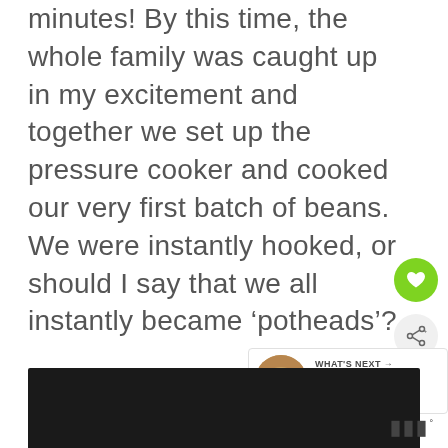minutes! By this time, the whole family was caught up in my excitement and together we set up the pressure cooker and cooked our very first batch of beans. We were instantly hooked, or should I say that we all instantly became ‘potheads’?
[Figure (other): Green heart/favorite button (circular green button with white heart icon)]
[Figure (other): Share button (circular light gray button with share icon)]
[Figure (other): What's Next widget showing Citrus Pork Carnitas... with a food thumbnail image]
[Figure (other): Dark image/advertisement at bottom of page with WW logo in bottom right]